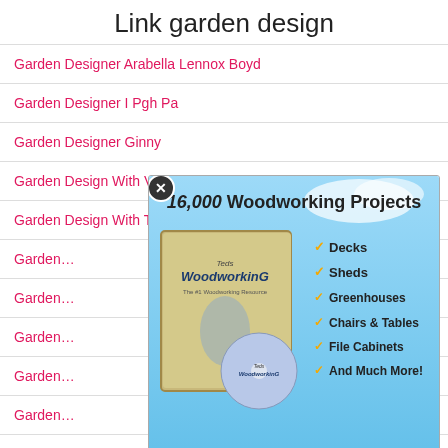Link garden design
Garden Designer Arabella Lennox Boyd
Garden Designer I Pgh Pa
Garden Designer Ginny
Garden Design With Vegetables
Garden Design With Tree Stum…
Garden…
Garden…
Garden…
Garden…
Garden…
Garden…
[Figure (infographic): Advertisement popup for '16,000 Woodworking Projects' by Ted's WoodworkinG, showing a product box, DVD, and a man. Checkmark list includes Decks, Sheds, Greenhouses, Chairs & Tables, File Cabinets, And Much More! Badge says #1 Recommended. Button says Download Your Plans Now!]